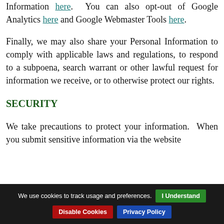Information here. You can also opt-out of Google Analytics here and Google Webmaster Tools here.
Finally, we may also share your Personal Information to comply with applicable laws and regulations, to respond to a subpoena, search warrant or other lawful request for information we receive, or to otherwise protect our rights.
SECURITY
We take precautions to protect your information. When you submit sensitive information via the website...
We use cookies to track usage and preferences.  I Understand  Disable Cookies  Privacy Policy